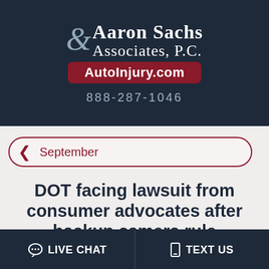[Figure (logo): Aaron Sachs & Associates, P.C. law firm logo with AutoInjury.com website badge on dark navy background]
888-287-1046
September
DOT facing lawsuit from consumer advocates after backup camera rule
LIVE CHAT
TEXT US